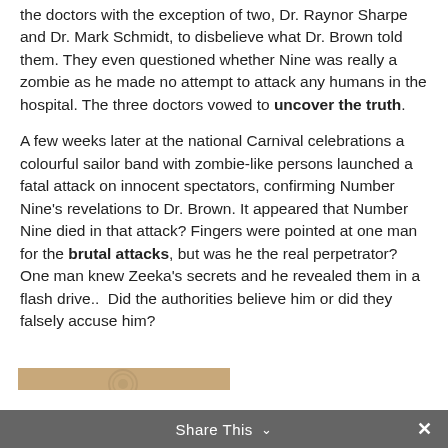the doctors with the exception of two, Dr. Raynor Sharpe and Dr. Mark Schmidt, to disbelieve what Dr. Brown told them. They even questioned whether Nine was really a zombie as he made no attempt to attack any humans in the hospital. The three doctors vowed to uncover the truth.
A few weeks later at the national Carnival celebrations a colourful sailor band with zombie-like persons launched a fatal attack on innocent spectators, confirming Number Nine's revelations to Dr. Brown. It appeared that Number Nine died in that attack? Fingers were pointed at one man for the brutal attacks, but was he the real perpetrator? One man knew Zeeka's secrets and he revealed them in a flash drive..  Did the authorities believe him or did they falsely accuse him?
[Figure (photo): Partial image visible at bottom of page showing a brown/tan background with a circular emblem or logo design]